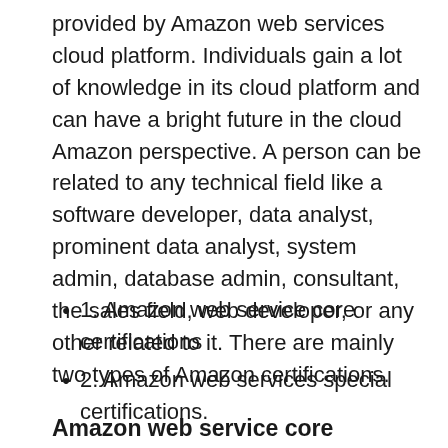provided by Amazon web services cloud platform. Individuals gain a lot of knowledge in its cloud platform and can have a bright future in the cloud Amazon perspective. A person can be related to any technical field like a software developer, data analyst, prominent data analyst, system admin, database admin, consultant, the sales field, web developer, or any other related to it. There are mainly two types of Amazon certifications.
1. Amazon web service core certifications
2. Amazon web services special certifications.
Amazon web service core